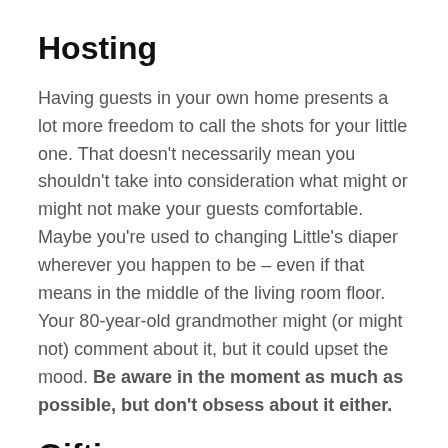Hosting
Having guests in your own home presents a lot more freedom to call the shots for your little one. That doesn't necessarily mean you shouldn't take into consideration what might or might not make your guests comfortable. Maybe you're used to changing Little's diaper wherever you happen to be – even if that means in the middle of the living room floor. Your 80-year-old grandmother might (or might not) comment about it, but it could upset the mood. Be aware in the moment as much as possible, but don't obsess about it either.
Gifting